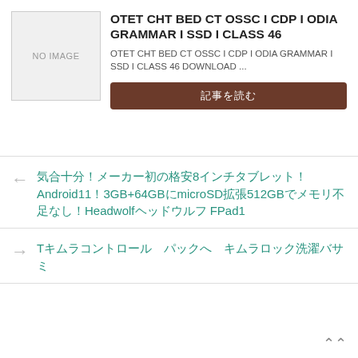[Figure (other): NO IMAGE placeholder box]
OTET CHT BED CT OSSC I CDP I ODIA GRAMMAR I SSD I CLASS 46
OTET CHT BED CT OSSC I CDP I ODIA GRAMMAR I SSD I CLASS 46 DOWNLOAD ...
記事を読む
気合十分！メーカー初の格安8インチタブレット！Android11！3GB+64GBにmicroSD拡張512GBでメモリ不足なし！Headwolfヘッドウルフ FPad1
Tキムラコントロール　パックへ　キムラロック洗濯バサミ